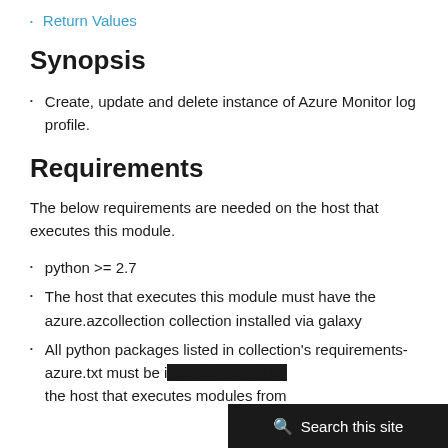Return Values
Synopsis
Create, update and delete instance of Azure Monitor log profile.
Requirements
The below requirements are needed on the host that executes this module.
python >= 2.7
The host that executes this module must have the azure.azcollection collection installed via galaxy
All python packages listed in collection's requirements-azure.txt must be installed via pip on the host that executes modules from